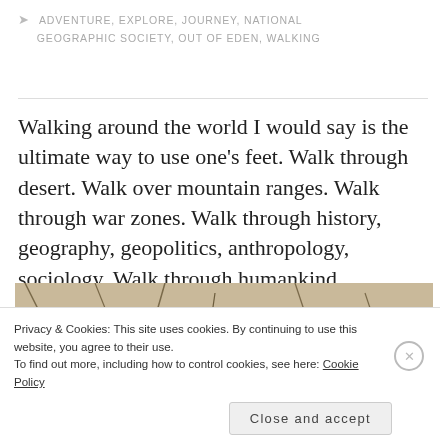ADVENTURE, EXPLORE, JOURNEY, NATIONAL GEOGRAPHIC SOCIETY, OUT OF EDEN, WALKING
Walking around the world I would say is the ultimate way to use one's feet. Walk through desert. Walk over mountain ranges. Walk through war zones. Walk through history, geography, geopolitics, anthropology, sociology. Walk through humankind.
[Figure (photo): Close-up photograph of cracked dry earth/rocks, showing dark stones among light-colored cracked soil, suggesting arid desert terrain.]
Privacy & Cookies: This site uses cookies. By continuing to use this website, you agree to their use. To find out more, including how to control cookies, see here: Cookie Policy
Close and accept